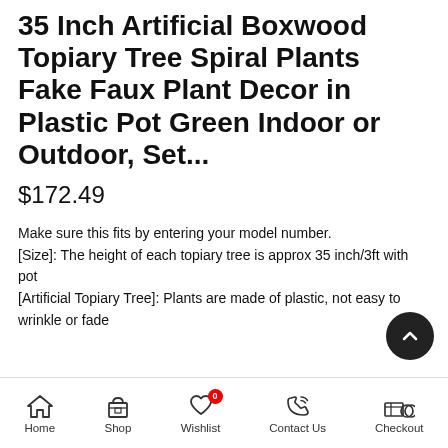35 Inch Artificial Boxwood Topiary Tree Spiral Plants Fake Faux Plant Decor in Plastic Pot Green Indoor or Outdoor, Set...
$172.49
Make sure this fits by entering your model number.
[Size]: The height of each topiary tree is approx 35 inch/3ft with pot
[Artificial Topiary Tree]: Plants are made of plastic, not easy to wrinkle or fade
Home  Shop  Wishlist  Contact Us  Checkout